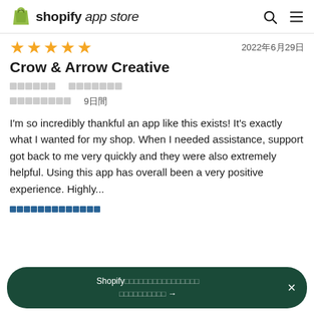shopify app store
★★★★★  2022年6月29日
Crow & Arrow Creative
□□□□□□  □□□□□□□
□□□□□□□□  9□□
I'm so incredibly thankful an app like this exists! It's exactly what I wanted for my shop. When I needed assistance, support got back to me very quickly and they were also extremely helpful. Using this app has overall been a very positive experience. Highly...
□□□□□□□□□□□□□
Shopify□□□□□□□□□□□□□□□□
□□□□□□□□□□ →